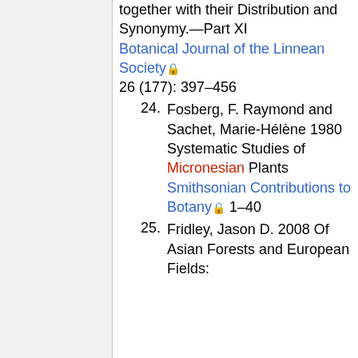(continuation) together with their Distribution and Synonymy.—Part XI Botanical Journal of the Linnean Society 26 (177): 397–456
24. Fosberg, F. Raymond and Sachet, Marie-Hélène 1980 Systematic Studies of Micronesian Plants Smithsonian Contributions to Botany 1–40
25. Fridley, Jason D. 2008 Of Asian Forests and European Fields: